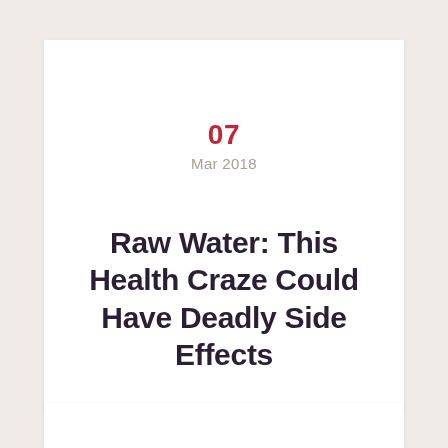07
Mar 2018
Raw Water: This Health Craze Could Have Deadly Side Effects